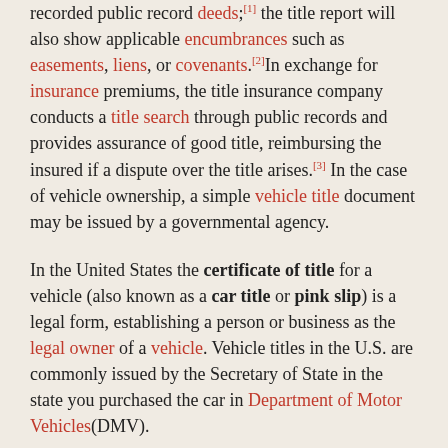recorded public record deeds;[1] the title report will also show applicable encumbrances such as easements, liens, or covenants.[2] In exchange for insurance premiums, the title insurance company conducts a title search through public records and provides assurance of good title, reimbursing the insured if a dispute over the title arises.[3] In the case of vehicle ownership, a simple vehicle title document may be issued by a governmental agency.
In the United States the certificate of title for a vehicle (also known as a car title or pink slip) is a legal form, establishing a person or business as the legal owner of a vehicle. Vehicle titles in the U.S. are commonly issued by the Secretary of State in the state you purchased the car in Department of Motor Vehicles(DMV).
Each state in the US has its own distinct process for the Certificate of Title. When filling out the title during a vehicle transaction, the rules in one state do not always apply to a